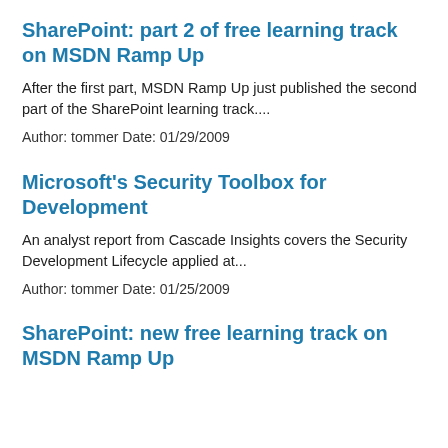SharePoint: part 2 of free learning track on MSDN Ramp Up
After the first part, MSDN Ramp Up just published the second part of the SharePoint learning track....
Author: tommer Date: 01/29/2009
Microsoft's Security Toolbox for Development
An analyst report from Cascade Insights covers the Security Development Lifecycle applied at...
Author: tommer Date: 01/25/2009
SharePoint: new free learning track on MSDN Ramp Up